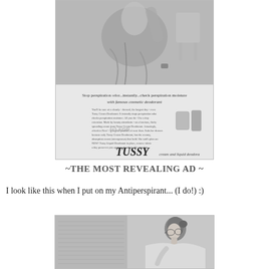[Figure (photo): Vintage Tussy cream and liquid deodorant advertisement in black and white. Shows a woman in a robe and advertising text reading 'Stop perspiration odor...instantly...check perspiration moisture with famous cosmetic deodorant' with TUSSY branding and a watermark '(c) AGP'.]
~THE MOST REVEALING AD ~
I look like this when I put on my Antiperspirant... (I do!) :)
[Figure (photo): Black and white photo of a woman in a white robe or towel, looking to the side, likely related to the antiperspirant topic.]